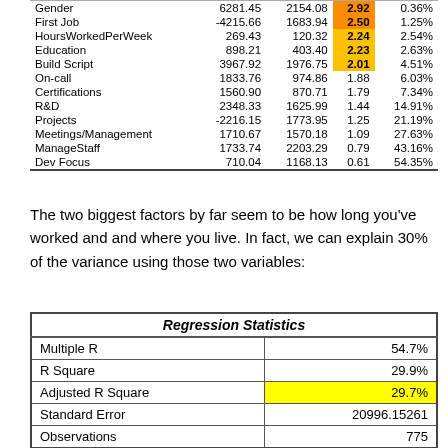| Independent | Coef | Std Err | t | P>|t| |
| --- | --- | --- | --- | --- |
| Gender | 6281.45 | 2154.08 | 2.92 | 0.36% |
| First Job | -4215.66 | 1683.94 | 2.50 | 1.25% |
| HoursWorkedPerWeek | 269.43 | 120.32 | 2.24 | 2.54% |
| Education | 898.21 | 403.40 | 2.23 | 2.63% |
| Build Script | 3967.92 | 1976.75 | 2.01 | 4.51% |
| On-call | 1833.76 | 974.86 | 1.88 | 6.03% |
| Certifications | 1560.90 | 870.71 | 1.79 | 7.34% |
| R&D | 2348.33 | 1625.99 | 1.44 | 14.91% |
| Projects | -2216.15 | 1773.95 | 1.25 | 21.19% |
| Meetings/Management | 1710.67 | 1570.18 | 1.09 | 27.63% |
| ManageStaff | 1733.74 | 2203.29 | 0.79 | 43.16% |
| Dev Focus | 710.04 | 1168.13 | 0.61 | 54.35% |
The two biggest factors by far seem to be how long you've worked and and where you live. In fact, we can explain 30% of the variance using those two variables:
| Regression Statistics |  |
| --- | --- |
| Multiple R | 54.7% |
| R Square | 29.9% |
| Adjusted R Square | 29.7% |
| Standard Error | 20996.15261 |
| Observations | 775 |